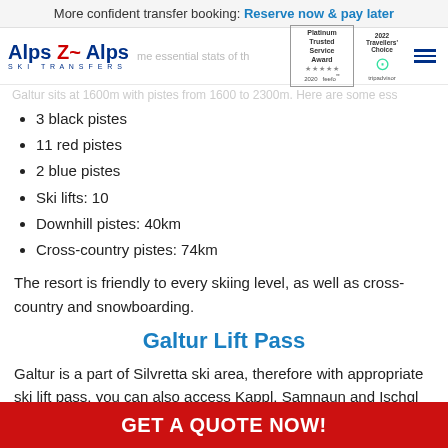More confident transfer booking: Reserve now & pay later
Galtur sits at 1600m with pistes from 1600 to 2300m. Here are some essential stats of the ski area:
3 black pistes
11 red pistes
2 blue pistes
Ski lifts: 10
Downhill pistes: 40km
Cross-country pistes: 74km
The resort is friendly to every skiing level, as well as cross-country and snowboarding.
Galtur Lift Pass
Galtur is a part of Silvretta ski area, therefore with appropriate ski lift pass, you can also access Kappl, Samnaun and Ischgl resorts, which gives you a total of 480km of downhill skiing.
GET A QUOTE NOW!